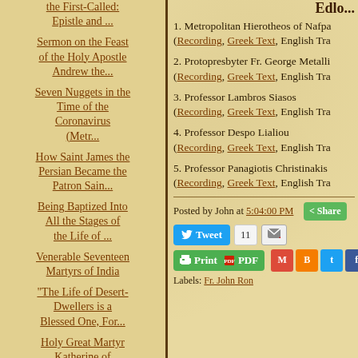the First-Called: Epistle and ...
Sermon on the Feast of the Holy Apostle Andrew the...
Seven Nuggets in the Time of the Coronavirus (Metr...
How Saint James the Persian Became the Patron Sain...
Being Baptized Into All the Stages of the Life of ...
Venerable Seventeen Martyrs of India
"The Life of Desert-Dwellers is a Blessed One, For...
Holy Great Martyr Katherine of Alexandria: Epistle...
Edlo...
1. Metropolitan Hierotheos of Nafpa (Recording, Greek Text, English Tra
2. Protopresbyter Fr. George Metalli (Recording, Greek Text, English Tra
3. Professor Lambros Siasos (Recording, Greek Text, English Tra
4. Professor Despo Lialiou (Recording, Greek Text, English Tra
5. Professor Panagiotis Christinakis (Recording, Greek Text, English Tra
Posted by John at 5:04:00 PM
Tweet  11  [email]  Share
Print  PDF
Labels: Fr. John Ron